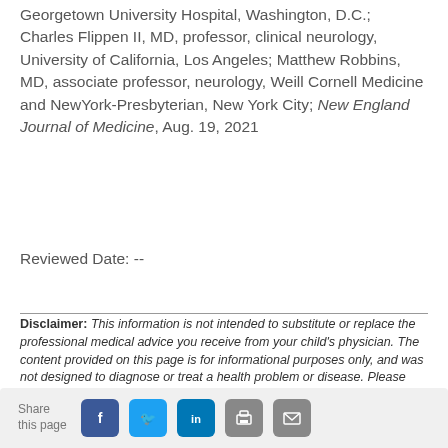Georgetown University Hospital, Washington, D.C.; Charles Flippen II, MD, professor, clinical neurology, University of California, Los Angeles; Matthew Robbins, MD, associate professor, neurology, Weill Cornell Medicine and NewYork-Presbyterian, New York City; New England Journal of Medicine, Aug. 19, 2021
Reviewed Date: --
Disclaimer: This information is not intended to substitute or replace the professional medical advice you receive from your child's physician. The content provided on this page is for informational purposes only, and was not designed to diagnose or treat a health problem or disease. Please consult your child's physician with any questions or concerns you may have regarding a medical condition.
[Figure (other): Social share bar with Share this page label and icons for Facebook, Twitter, LinkedIn, Print, and Email]